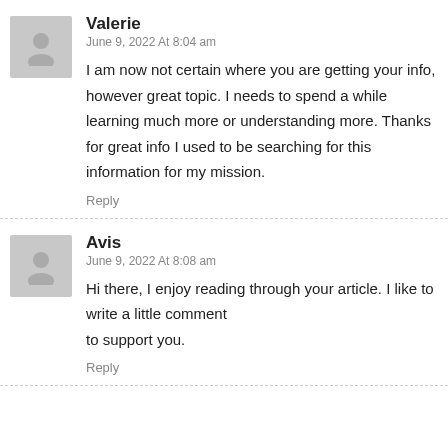[Figure (illustration): Gray avatar placeholder icon for user Valerie]
Valerie
June 9, 2022 At 8:04 am
I am now not certain where you are getting your info, however great topic. I needs to spend a while learning much more or understanding more. Thanks for great info I used to be searching for this information for my mission.
Reply
[Figure (illustration): Gray avatar placeholder icon for user Avis]
Avis
June 9, 2022 At 8:08 am
Hi there, I enjoy reading through your article. I like to write a little comment to support you.
Reply